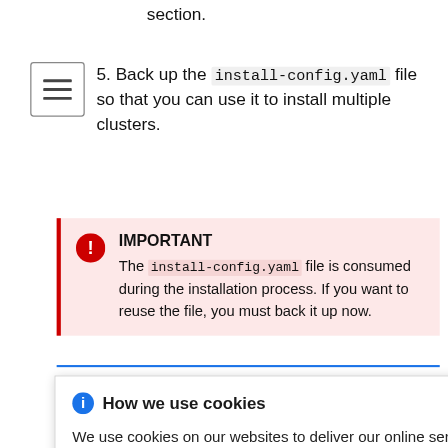section.
5. Back up the install-config.yaml file so that you can use it to install multiple clusters.
IMPORTANT
The install-config.yaml file is consumed during the installation process. If you want to reuse the file, you must back it up now.
How we use cookies
We use cookies on our websites to deliver our online services. Details about how we use cookies and how you may disable them are set out in our Privacy Statement. By using this website you agree to our use of cookies.
proxy
access to
HTTPS proxy
hift
Container Platform cluster to use a proxy by